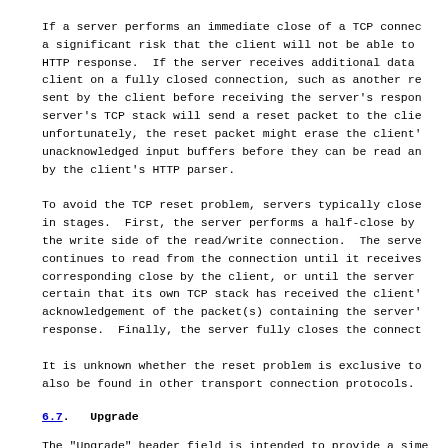If a server performs an immediate close of a TCP connec a significant risk that the client will not be able to HTTP response.  If the server receives additional data client on a fully closed connection, such as another re sent by the client before receiving the server's respon server's TCP stack will send a reset packet to the clie unfortunately, the reset packet might erase the client' unacknowledged input buffers before they can be read an by the client's HTTP parser.
To avoid the TCP reset problem, servers typically close in stages.  First, the server performs a half-close by the write side of the read/write connection.  The serve continues to read from the connection until it receives corresponding close by the client, or until the server certain that its own TCP stack has received the client' acknowledgement of the packet(s) containing the server' response.  Finally, the server fully closes the connect
It is unknown whether the reset problem is exclusive to also be found in other transport connection protocols.
6.7.  Upgrade
The "Upgrade" header field is intended to provide a sime for transitioning from HTTP/1.1 to some other protocol connection.  A client MAY send a list of protocols in t header field of a request to invite the server to switc more of those protocols, in order of descending prefere